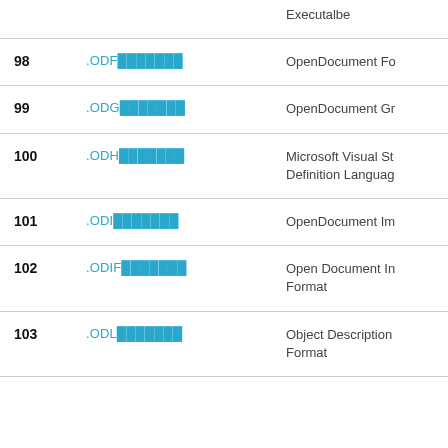| # | Extension | Description |
| --- | --- | --- |
|  |  | Executalbe |
| 98 | .ODF███████ | OpenDocument Fo |
| 99 | .ODG███████ | OpenDocument Gr |
| 100 | .ODH███████ | Microsoft Visual St Definition Languag |
| 101 | .ODI███████ | OpenDocument Im |
| 102 | .ODIF███████ | Open Document In Format |
| 103 | .ODL███████ | Object Description Format |